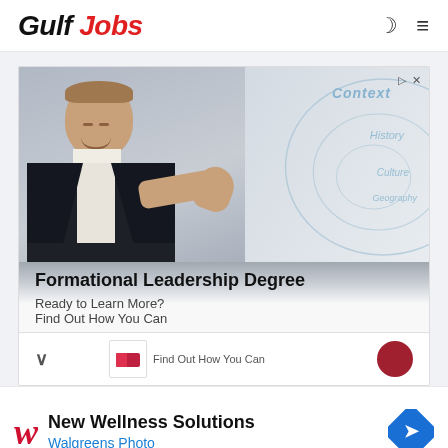Gulf Jobs
[Figure (photo): Advertisement banner showing a man in a suit pointing at a whiteboard with text 'Context', 'History', 'Culture', 'Geography'. Ad headline: 'Formational Leadership Degree'. Subtext: 'Ready to Learn More? Find Out How You Can']
[Figure (infographic): Second advertisement for Walgreens Photo showing Walgreens 'W' logo, text 'New Wellness Solutions', 'Walgreens Photo', and a blue navigation diamond icon]